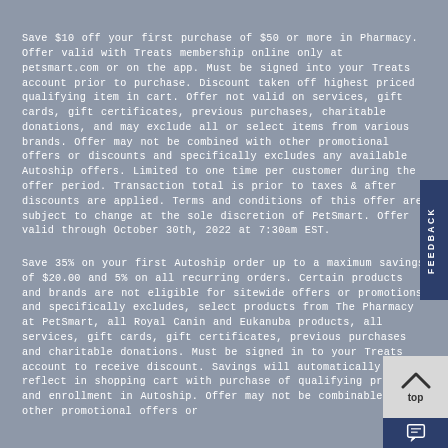Save $10 off your first purchase of $50 or more in Pharmacy. Offer valid with Treats membership online only at petsmart.com or on the app. Must be signed into your Treats account prior to purchase. Discount taken off highest priced qualifying item in cart. Offer not valid on services, gift cards, gift certificates, previous purchases, charitable donations, and may exclude all or select items from various brands. Offer may not be combined with other promotional offers or discounts and specifically excludes any available Autoship offers. Limited to one time per customer during the offer period. Transaction total is prior to taxes & after discounts are applied. Terms and conditions of this offer are subject to change at the sole discretion of PetSmart. Offer valid through October 30th, 2022 at 7:30am EST.
Save 35% on your first Autoship order up to a maximum savings of $20.00 and 5% on all recurring orders. Certain products and brands are not eligible for sitewide offers or promotions and specifically excludes, select products from The Pharmacy at PetSmart, all Royal Canin and Eukanuba products, all services, gift cards, gift certificates, previous purchases and charitable donations. Must be signed in to your Treats account to receive discount. Savings will automatically reflect in shopping cart with purchase of qualifying product and enrollment in Autoship. Offer may not be combinable with other promotional offers or